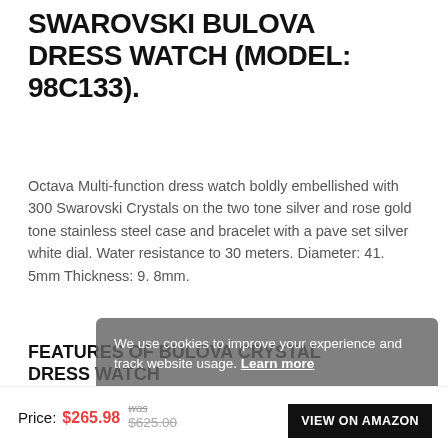SWAROVSKI BULOVA DRESS WATCH (MODEL: 98C133).
Octava Multi-function dress watch boldly embellished with 300 Swarovski Crystals on the two tone silver and rose gold tone stainless steel case and bracelet with a pave set silver white dial. Water resistance to 30 meters. Diameter: 41. 5mm Thickness: 9. 8mm.
FEATURES OF BULOVA CRYSTAL DRESS WATCH
We use cookies to improve your experience and track website usage. Learn more
Multi-function dress watch boldly embellished wit 300 Swarovski Crystals on the two tone silver and
Price: $265.98 was $625.00
VIEW ON AMAZON